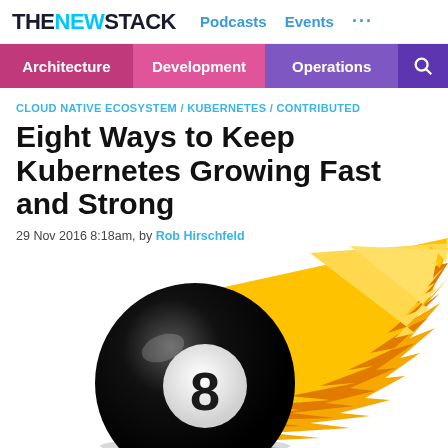THE NEW STACK  Podcasts  Events  ...
Architecture  Development  Operations
CLOUD NATIVE ECOSYSTEM / KUBERNETES / CONTRIBUTED
Eight Ways to Keep Kubernetes Growing Fast and Strong
29 Nov 2016 8:18am, by Rob Hirschfeld
[Figure (illustration): A black 8-ball with flames trailing behind it, moving to the right, cartoon style illustration]